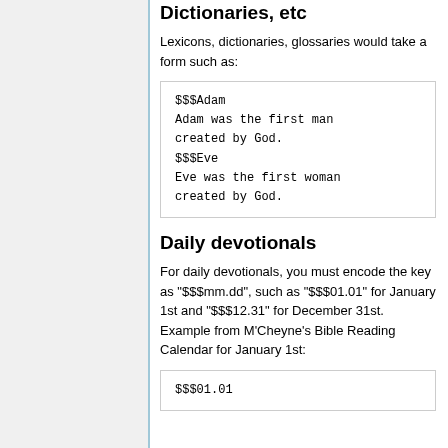Dictionaries, etc
Lexicons, dictionaries, glossaries would take a form such as:
$$$Adam
Adam was the first man created by God.
$$$Eve
Eve was the first woman created by God.
Daily devotionals
For daily devotionals, you must encode the key as "$$$mm.dd", such as "$$$01.01" for January 1st and "$$$12.31" for December 31st. Example from M'Cheyne's Bible Reading Calendar for January 1st:
$$$01.01